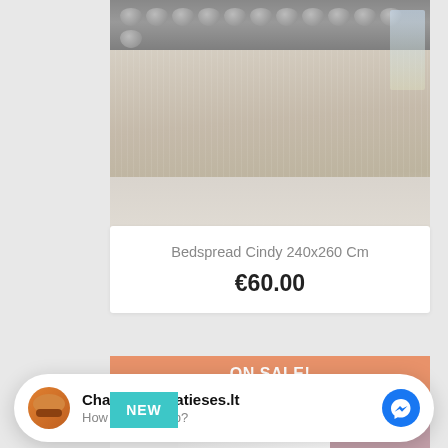[Figure (photo): A beige/tan textured bedspread (Cindy model) on a bed with a silver tufted headboard, in a bright bedroom setting with light wood floor and window light visible.]
Bedspread Cindy 240x260 Cm
€60.00
ON SALE!
NEW
Chat with lovatieses.lt
How can we help?